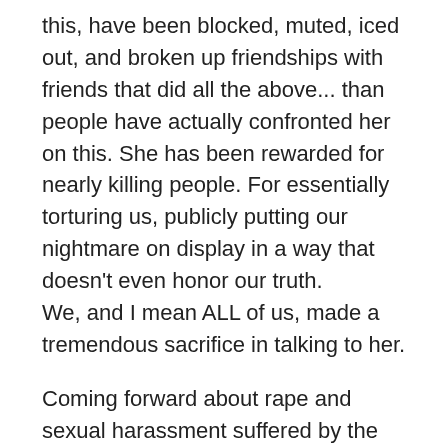this, have been blocked, muted, iced out, and broken up friendships with friends that did all the above... than people have actually confronted her on this. She has been rewarded for nearly killing people. For essentially torturing us, publicly putting our nightmare on display in a way that doesn’t even honor our truth. We, and I mean ALL of us, made a tremendous sacrifice in talking to her.

Coming forward about rape and sexual harassment suffered by the hands of someone powerful is not easy. I cannot express how hard that is in the first place. The toll it takes on your life is profound. It is a dangerous thing to do. It will get you sued for one thing. This was something that Cecilia took advantage of. Our sacrifice should have been respected. Our story should have been followed, and taken serious